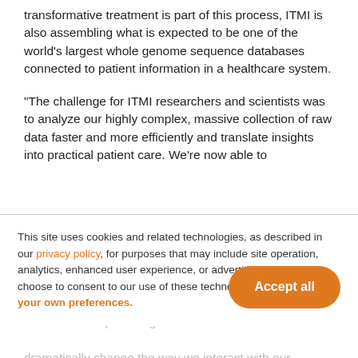transformative treatment is part of this process, ITMI is also assembling what is expected to be one of the world's largest whole genome sequence databases connected to patient information in a healthcare system.
“The challenge for ITMI researchers and scientists was to analyze our highly complex, massive collection of raw data faster and more efficiently and translate insights into practical patient care. We’re now able to
get answers in minutes and seconds and can find [ghost text behind cookie banner]
This site uses cookies and related technologies, as described in our privacy policy, for purposes that may include site operation, analytics, enhanced user experience, or advertising. You may choose to consent to our use of these technologies, or manage your own preferences.
Accept all